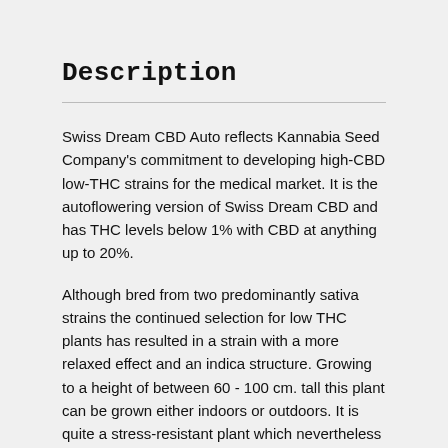Description
Swiss Dream CBD Auto reflects Kannabia Seed Company's commitment to developing high-CBD low-THC strains for the medical market. It is the autoflowering version of Swiss Dream CBD and has THC levels below 1% with CBD at anything up to 20%.
Although bred from two predominantly sativa strains the continued selection for low THC plants has resulted in a strain with a more relaxed effect and an indica structure. Growing to a height of between 60 - 100 cm. tall this plant can be grown either indoors or outdoors. It is quite a stress-resistant plant which nevertheless requires a constant supply of nutrients albeit at lower concentrations. Like an indica plant the internodal length is fairly short giving rise to a plethora of budding sites.
Indoors this strain will yield around 400 gr/m² in